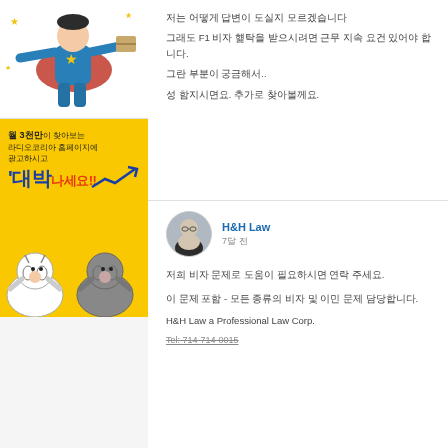[Figure (illustration): Cartoon superhero figure flying with cape and package]
[Figure (illustration): Korean advertisement banner in yellow: 월 3천만이 찾아보는 라디오코리아 홈페이지에 광고하시고 대박나세요!! with tiger and cat mascots]
저는 어떻게 답변이 도실지 모르겠습니다
그래도 F1 비자 혜택을 받으시려면 근무 지속 요건 있어야 합니다.
그런 부분이 궁금해서..
성 함지시면요. 추가로 찾아볼게요.
[Figure (photo): Profile photo of H&H Law representative, man with glasses in dark suit]
H&H Law
7달 전
저희 비자 문제로 도움이 필요하시면 연락 주세요.
이 문제 포함 - 모든 종류의 비자 및 이민 문제 담당합니다.
H&H Law a Professional Law Corp.
Tel: 714-714-0015